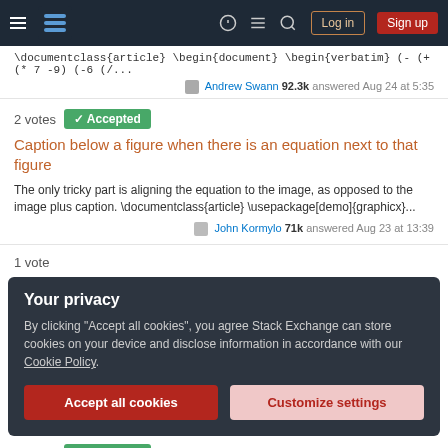Stack Exchange navigation bar with Log in and Sign up buttons
\documentclass{article} \begin{document} \begin{verbatim} (- (+ (* 7 -9) (-6 (/...
Andrew Swann 92.3k answered Aug 24 at 5:35
2 votes  Accepted
Caption below a figure when there is an equation next to that figure
The only tricky part is aligning the equation to the image, as opposed to the image plus caption. \documentclass{article} \usepackage[demo]{graphicx}...
John Kormylo 71k answered Aug 23 at 13:39
1 vote
Your privacy
By clicking "Accept all cookies", you agree Stack Exchange can store cookies on your device and disclose information in accordance with our Cookie Policy.
Accept all cookies  Customize settings
2 votes  Accepted